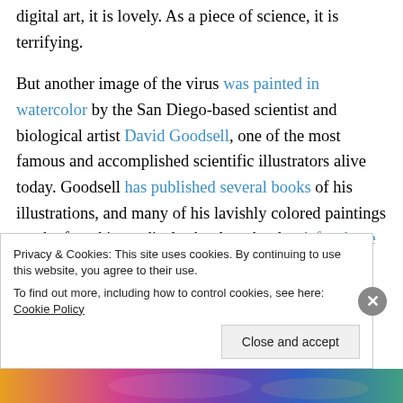digital art, it is lovely. As a piece of science, it is terrifying.
But another image of the virus was painted in watercolor by the San Diego-based scientist and biological artist David Goodsell, one of the most famous and accomplished scientific illustrators alive today. Goodsell has published several books of his illustrations, and many of his lavishly colored paintings can be found in medical school textbooks. A few have won awards. Some have even hung in museums. Goodsell's coronavirus image is not nearly
Privacy & Cookies: This site uses cookies. By continuing to use this website, you agree to their use.
To find out more, including how to control cookies, see here: Cookie Policy
[Figure (illustration): Colorful illustrated strip at the bottom of the page]